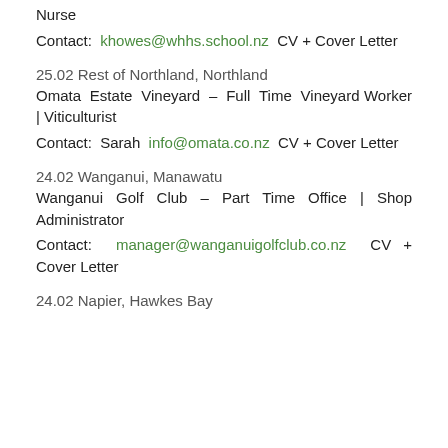Nurse
Contact: khowes@whhs.school.nz CV + Cover Letter
25.02 Rest of Northland, Northland
Omata Estate Vineyard – Full Time Vineyard Worker | Viticulturist
Contact: Sarah info@omata.co.nz CV + Cover Letter
24.02 Wanganui, Manawatu
Wanganui Golf Club – Part Time Office | Shop Administrator
Contact: manager@wanganuigolfclub.co.nz CV + Cover Letter
24.02 Napier, Hawkes Bay